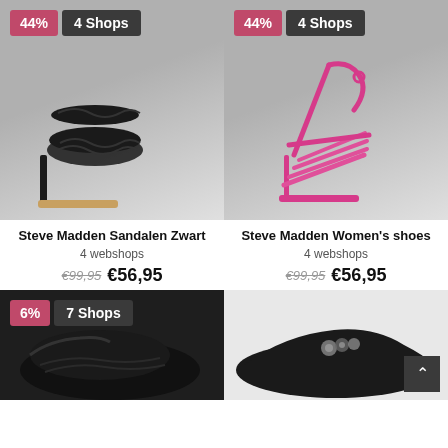[Figure (photo): Black braided heeled sandal on grey background with 44% discount badge and 4 Shops badge]
Steve Madden Sandalen Zwart
4 webshops
€99,95  €56,95
[Figure (photo): Pink strappy heeled sandal on grey background with 44% discount badge and 4 Shops badge]
Steve Madden Women's shoes
4 webshops
€99,95  €56,95
[Figure (photo): Black sneaker on dark background with 6% discount badge and 7 Shops badge]
[Figure (photo): Black loafer with embellishment on light background, partially visible]